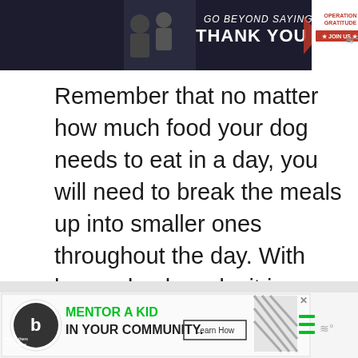[Figure (screenshot): Advertisement banner at top: 'GO BEYOND SAYING THANK YOU' with Operation Gratitude logo and 'JOIN US' button, dark blue background]
Remember that no matter how much food your dog needs to eat in a day, you will need to break the meals up into smaller ones throughout the day. With larger dog breeds, it is very important to do this to ensure your dog doesn't get bloat.
[Figure (screenshot): Advertisement banner at bottom: Big Brothers Big Sisters logo with 'MENTOR A KID IN YOUR COMMUNITY.' and 'Learn How' button]